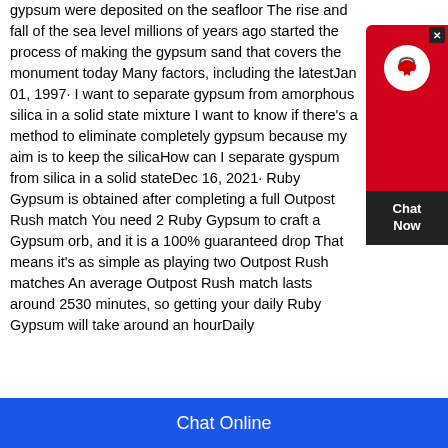gypsum were deposited on the seafloor The rise and fall of the sea level millions of years ago started the process of making the gypsum sand that covers the monument today Many factors, including the latestJan 01, 1997· I want to separate gypsum from amorphous silica in a solid state mixture I want to know if there's a method to eliminate completely gypsum because my aim is to keep the silicaHow can I separate gyspum from silica in a solid stateDec 16, 2021· Ruby Gypsum is obtained after completing a full Outpost Rush match You need 2 Ruby Gypsum to craft a Gypsum orb, and it is a 100% guaranteed drop That means it's as simple as playing two Outpost Rush matches An average Outpost Rush match lasts around 2530 minutes, so getting your daily Ruby Gypsum will take around an hourDaily
[Figure (other): Live chat widget button with headset icon, red background, showing 'Chat Now' label]
Chat Online